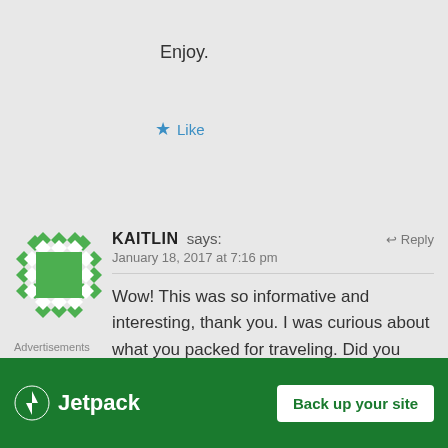Enjoy.
★ Like
KAITLIN says:
January 18, 2017 at 7:16 pm
Wow! This was so informative and interesting, thank you. I was curious about what you packed for traveling. Did you ever have to pay extra for baggage on the flights? How did you do
[Figure (illustration): Green geometric avatar with diamond pattern border and green square center]
↩ Reply
Advertisements
[Figure (logo): Jetpack advertisement banner with green background, Jetpack logo on left and 'Back up your site' button on right]